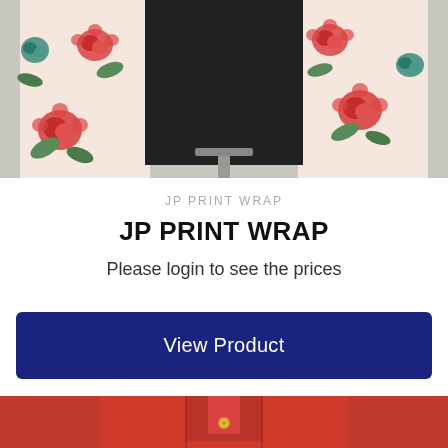[Figure (photo): A floral print wrap garment on a hanger, showing white fabric with red roses and green leaves pattern over a black shirt, displayed against a light gray wall background.]
JP PRINT WRAP
JP PRINT WRAP
Please login to see the prices
View Product
[Figure (photo): A red garment (polo or dress) with a gold button at the collar, shown cropped at the bottom of the page.]